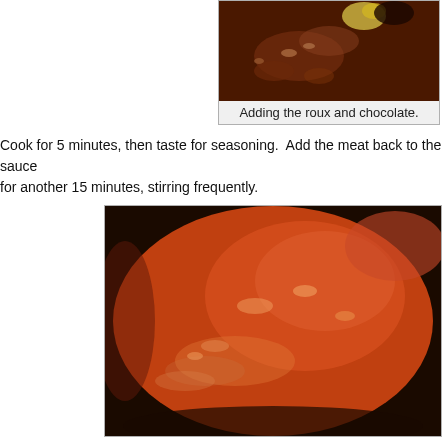[Figure (photo): Close-up photo of dark brown sauce in a pot with roux and chocolate being added, showing glossy surface with yellow specks.]
Adding the roux and chocolate.
Cook for 5 minutes, then taste for seasoning.  Add the meat back to the sauce for another 15 minutes, stirring frequently.
[Figure (photo): Close-up photo of a smooth, glossy orange-brown sauce filling a round pot, showing a smooth surface with some light reflections.]